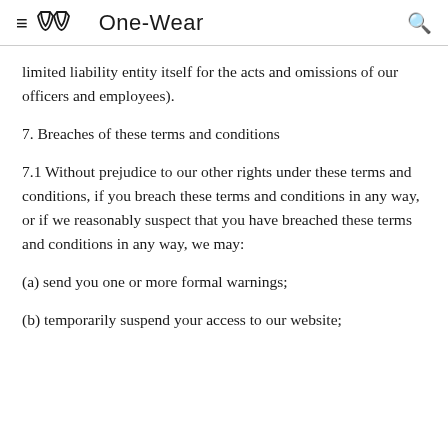≡ One-Wear 🔍
limited liability entity itself for the acts and omissions of our officers and employees).
7. Breaches of these terms and conditions
7.1 Without prejudice to our other rights under these terms and conditions, if you breach these terms and conditions in any way, or if we reasonably suspect that you have breached these terms and conditions in any way, we may:
(a) send you one or more formal warnings;
(b) temporarily suspend your access to our website;